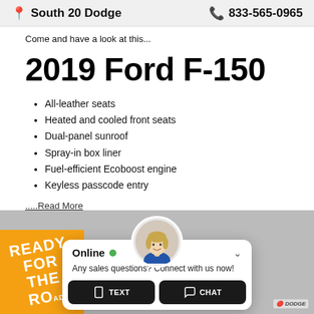South 20 Dodge  833-565-0965
Come and have a look at this...
2019 Ford F-150
All-leather seats
Heated and cooled front seats
Dual-panel sunroof
Spray-in box liner
Fuel-efficient Ecoboost engine
Keyless passcode entry
.....Read More
[Figure (screenshot): Chat widget overlay with online agent avatar, Online status indicator (green dot), message 'Any sales questions? Connect with us now!', and two buttons: TEXT and CHAT. Below is a partial car image with orange READY FOR THE ROAD badge and Dodge logo.]